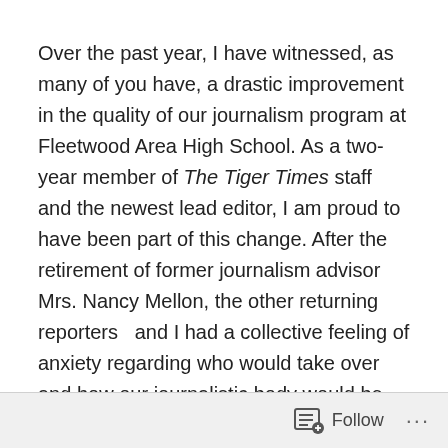Over the past year, I have witnessed, as many of you have, a drastic improvement in the quality of our journalism program at Fleetwood Area High School. As a two-year member of The Tiger Times staff and the newest lead editor, I am proud to have been part of this change. After the retirement of former journalism advisor Mrs. Nancy Mellon, the other returning reporters  and I had a collective feeling of anxiety regarding who would take over and how our journalistic body would be managed.
Despite our apprehensions, we at The Tiger Times received an advisor whose perseverance and ingenuity made an absolutely perfect fit for our new and much larger